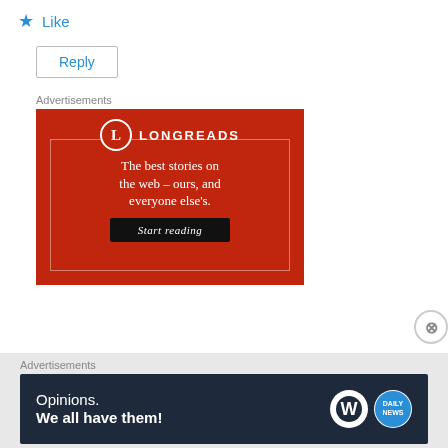Like
Reply
Advertisements
[Figure (illustration): Longreads advertisement: red background with Longreads logo and text 'The best stories on the web – ours, and everyone else's.' with a 'Start reading' button]
Advertisements
[Figure (illustration): WordPress/Daily Summary advertisement: dark navy background with text 'Opinions. We all have them!' and WordPress and news logos]